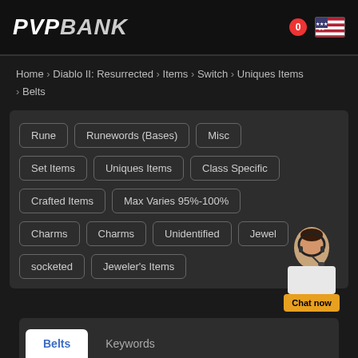PvpBank
Home › Diablo II: Resurrected › Items › Switch › Uniques Items › Belts
Rune
Runewords (Bases)
Misc
Set Items
Uniques Items
Class Specific
Crafted Items
Max Varies 95%-100%
Charms
Charms
Unidentified
Jewel
socketed
Jeweler's Items
Belts | Keywords